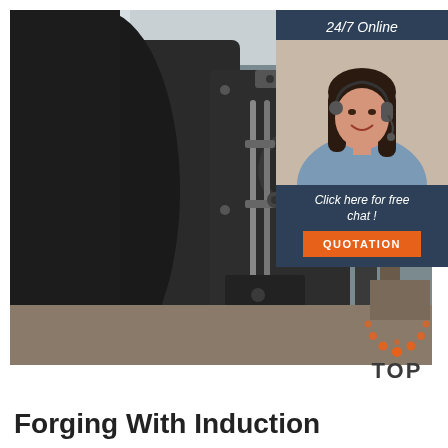[Figure (photo): Industrial forging machine close-up, showing large black metal press equipment with pipes, bolts and cables in a factory setting]
[Figure (photo): Customer service representative woman with headset smiling, shown in a dark blue overlay box with '24/7 Online' text, 'Click here for free chat!' text, and an orange QUOTATION button]
[Figure (logo): TOP logo with orange dotted arc above the word TOP in dark gray]
Forging With Induction